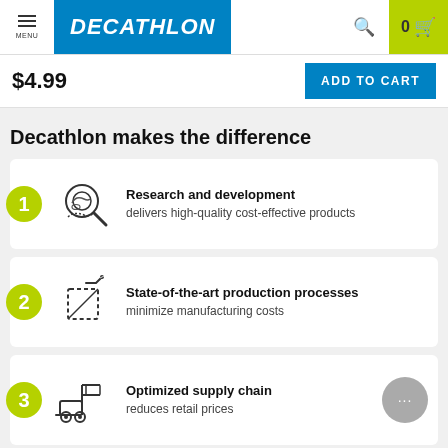MENU | DECATHLON | 0 cart
$4.99
ADD TO CART
Decathlon makes the difference
Research and development - delivers high-quality cost-effective products
State-of-the-art production processes - minimize manufacturing costs
Optimized supply chain - reduces retail prices